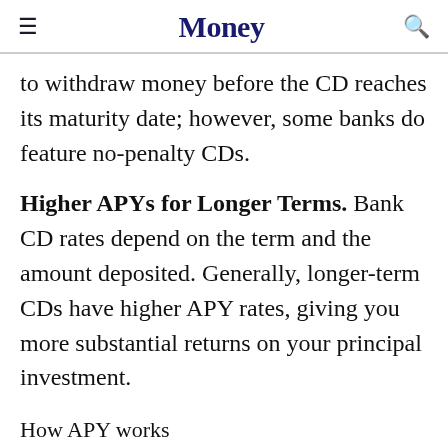Money
to withdraw money before the CD reaches its maturity date; however, some banks do feature no-penalty CDs.
Higher APYs for Longer Terms. Bank CD rates depend on the term and the amount deposited. Generally, longer-term CDs have higher APY rates, giving you more substantial returns on your principal investment.
How APY works
The Annual Percentage Yield (or APY)